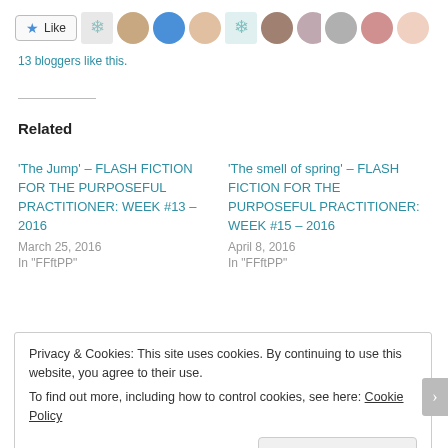[Figure (other): Like button with star icon and row of blogger avatar thumbnails]
13 bloggers like this.
Related
'The Jump' – FLASH FICTION FOR THE PURPOSEFUL PRACTITIONER: WEEK #13 – 2016
March 25, 2016
In "FFftPP"
'The smell of spring' – FLASH FICTION FOR THE PURPOSEFUL PRACTITIONER: WEEK #15 – 2016
April 8, 2016
In "FFftPP"
Privacy & Cookies: This site uses cookies. By continuing to use this website, you agree to their use.
To find out more, including how to control cookies, see here: Cookie Policy
Close and accept